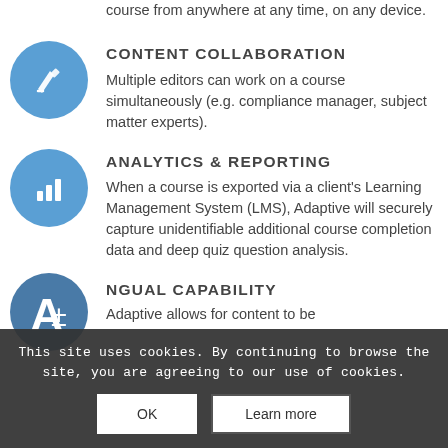course from anywhere at any time, on any device.
CONTENT COLLABORATION
Multiple editors can work on a course simultaneously (e.g. compliance manager, subject matter experts).
ANALYTICS & REPORTING
When a course is exported via a client's Learning Management System (LMS), Adaptive will securely capture unidentifiable additional course completion data and deep quiz question analysis.
NGUAL CAPABILITY
Adaptive allows for content to be...
This site uses cookies. By continuing to browse the site, you are agreeing to our use of cookies.